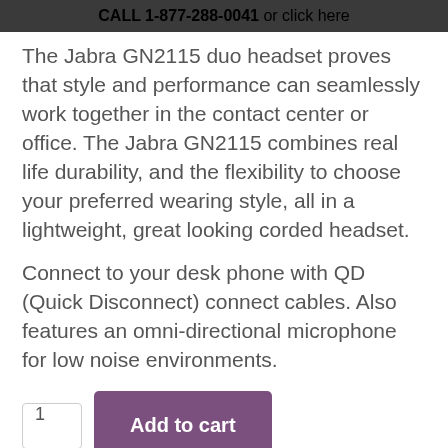CALL 1-877-288-0041 or click here
The Jabra GN2115 duo headset proves that style and performance can seamlessly work together in the contact center or office. The Jabra GN2115 combines real life durability, and the flexibility to choose your preferred wearing style, all in a lightweight, great looking corded headset.
Connect to your desk phone with QD (Quick Disconnect) connect cables. Also features an omni-directional microphone for low noise environments.
1  Add to cart